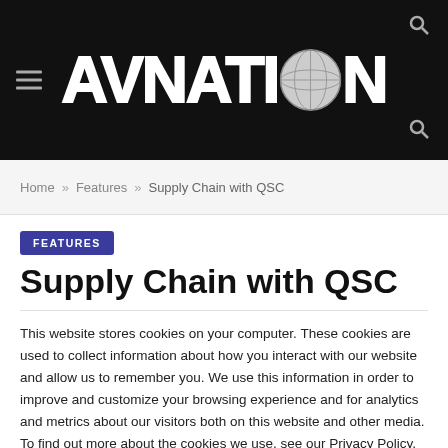AVNATION
Home » Features » Supply Chain with QSC
FEATURES
Supply Chain with QSC
This website stores cookies on your computer. These cookies are used to collect information about how you interact with our website and allow us to remember you. We use this information in order to improve and customize your browsing experience and for analytics and metrics about our visitors both on this website and other media. To find out more about the cookies we use, see our Privacy Policy.
Accept